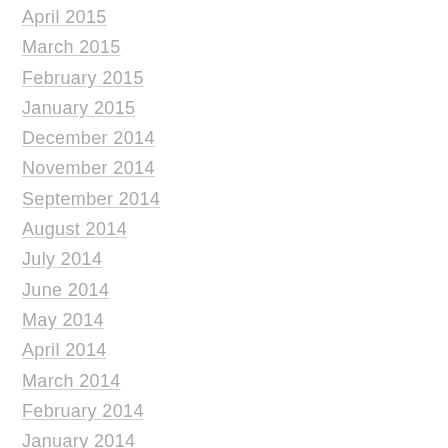April 2015
March 2015
February 2015
January 2015
December 2014
November 2014
September 2014
August 2014
July 2014
June 2014
May 2014
April 2014
March 2014
February 2014
January 2014
December 2013
October 2013
September 2013
July 2013